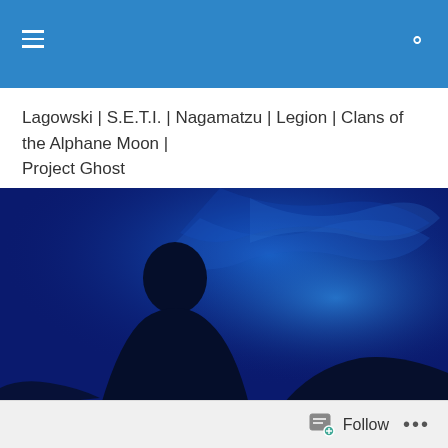Lagowski | S.E.T.I. | Nagamatzu | Legion | Clans of the Alphane Moon | Project Ghost
[Figure (photo): Dark silhouetted figure against a vivid blue background with swirling blue light patterns]
Aztec, Ice Breakers & Evel Knievel
Follow